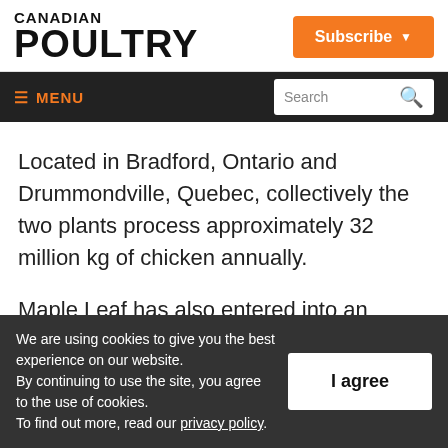CANADIAN POULTRY
Subscribe
≡ MENU  Search
Located in Bradford, Ontario and Drummondville, Quebec, collectively the two plants process approximately 32 million kg of chicken annually.
Maple Leaf has also entered into an
We are using cookies to give you the best experience on our website. By continuing to use the site, you agree to the use of cookies. To find out more, read our privacy policy.